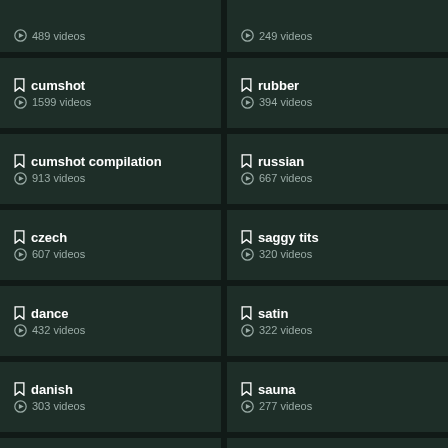cum in mouth · 489 videos
romanian · 249 videos
cumshot · 1599 videos
rubber · 394 videos
cumshot compilation · 913 videos
russian · 667 videos
czech · 607 videos
saggy tits · 320 videos
dance · 432 videos
satin · 322 videos
danish · 303 videos
sauna · 277 videos
deepthroat · 860 videos
screaming · 370 videos